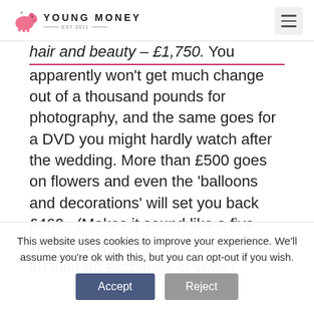YOUNG MONEY EST 2011
hair and beauty – £1,750. You apparently won't get much change out of a thousand pounds for photography, and the same goes for a DVD you might hardly watch after the wedding. More than £500 goes on flowers and even the 'balloons and decorations' will set you back £460. (Makes it sound like a five year's party with a clown rather than an elegant exchange of vows)
This website uses cookies to improve your experience. We'll assume you're ok with this, but you can opt-out if you wish.